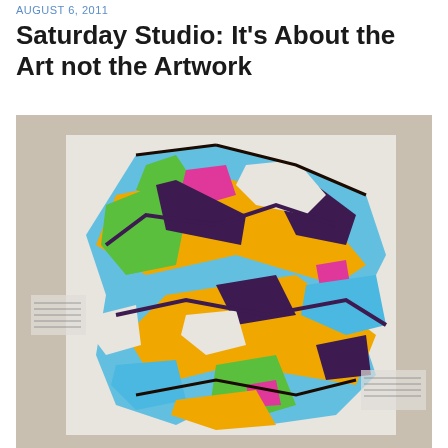AUGUST 6, 2011
Saturday Studio: It’s About the Art not the Artwork
[Figure (photo): A colorful abstract graffiti-style artwork on a textured white surface, featuring bold sweeping shapes in blue, yellow/orange, green, pink/magenta, and purple/black outlines. The artwork has a layered, painterly texture and is mounted on a wall in what appears to be a gallery setting.]